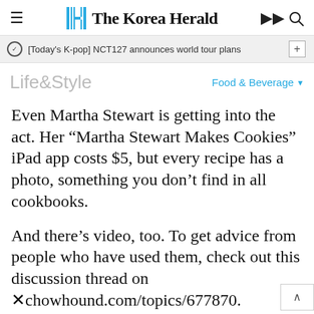The Korea Herald
[Today's K-pop] NCT127 announces world tour plans
Life&Style
Food & Beverage
Even Martha Stewart is getting into the act. Her “Martha Stewart Makes Cookies” iPad app costs $5, but every recipe has a photo, something you don’t find in all cookbooks.
And there’s video, too. To get advice from people who have used them, check out this discussion thread on chowhound.com/topics/677870.